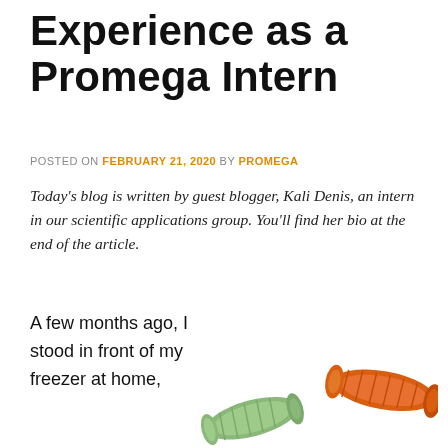Experience as a Promega Intern
POSTED ON FEBRUARY 21, 2020 BY PROMEGA
Today’s blog is written by guest blogger, Kali Denis, an intern in our scientific applications group. You’ll find her bio at the end of the article.
A few months ago, I stood in front of my freezer at home,
[Figure (photo): Three colorful gummy worm candies on a white background: one green, one orange, one yellow]